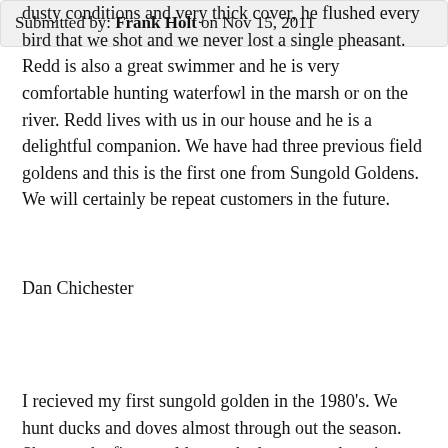dusty conditions and very thick cover, he flushed every bird that we shot and we never lost a single pheasant. Redd is also a great swimmer and he is very comfortable hunting waterfowl in the marsh or on the river. Redd lives with us in our house and he is a delightful companion. We have had three previous field goldens and this is the first one from Sungold Goldens. We will certainly be repeat customers in the future.
Dan Chichester
Submitted by: Frank Holt on Nov 15, 2011
I recieved my first sungold golden in the 1980's. We hunt ducks and doves almost through out the season. She was the finest golden we had ever seen here in Central Louisiana at the time. She retrieved thousands of ducks, geese and doves for 14 years and passed on at 15. Purchased another from Val at Trieven Kennals about five years ago. Her name was Bailey. She was able to withstand